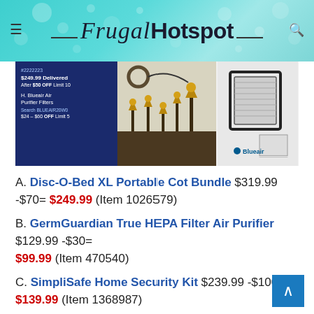Frugal Hotspot
[Figure (photo): Product image showing Costco sale items: left panel shows blue background with pricing text for H. Blueair Air Purifier Filters ($249.99 Delivered, After $50 OFF); middle panel shows outdoor landscape lighting stakes; right panel shows a Blueair air purifier filter/frame product on light background.]
A. Disc-O-Bed XL Portable Cot Bundle $319.99 -$70= $249.99 (Item 1026579)
B. GermGuardian True HEPA Filter Air Purifier $129.99 -$30= $99.99 (Item 470540)
C. SimpliSafe Home Security Kit $239.99 -$100= $139.99 (Item 1368987)
D. Meade S102 Refractor Telescope Bundle $199.99 -$50= $149.99 (Item 100423444)
E. CaddyTek 3-Wheel Golf Cart $149.99 -$40= $109.99 (Item